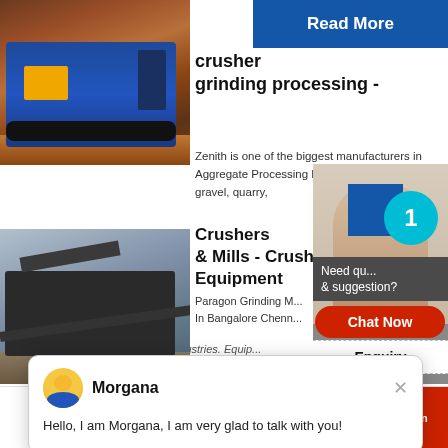[Figure (photo): Blue crusher/mining machine on excavation site with rocky terrain]
[Figure (screenshot): Blue 'Read More' button]
crusher grinding processing -
Zenith is one of the biggest manufacturers in Aggregate Processing Machinery for the sand & gravel, quarry,
mining, construction and recycling industries. Equip...
24Hrs Online
Morgana
Hello, I am Morgana, I am very glad to talk with you!
[Figure (photo): Crushing and screening equipment at quarry site]
Crushers & Mills - Crush Equipment
Paragon Grinding M...
In Bangalore Chenn...
Need qu... & suggestion?
Chat Now
Enquiry
limingjlmofen
HOME   PROUDCTS   CASES   limingjlmofen